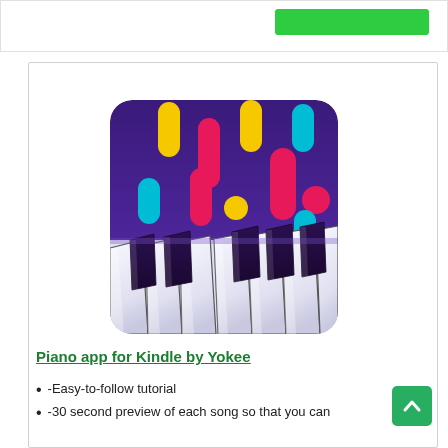[Figure (screenshot): Partial top of a previous card with a green button visible]
TOP PICK. 2
[Figure (illustration): Piano app icon showing colorful falling note bubbles (yellow, pink, cyan) above a piano keyboard on a purple background with rounded corners]
Piano app for Kindle by Yokee
-Easy-to-follow tutorial
-30 second preview of each song so that you can